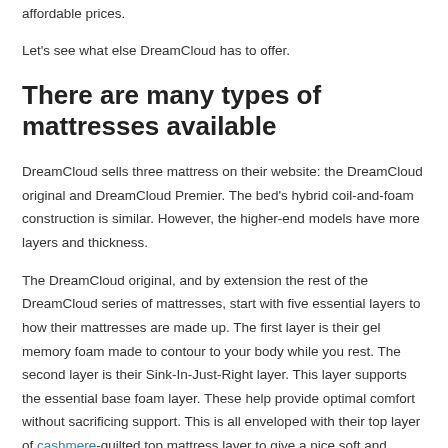affordable prices.
Let's see what else DreamCloud has to offer.
There are many types of mattresses available
DreamCloud sells three mattress on their website: the DreamCloud original and DreamCloud Premier. The bed's hybrid coil-and-foam construction is similar. However, the higher-end models have more layers and thickness.
The DreamCloud original, and by extension the rest of the DreamCloud series of mattresses, start with five essential layers to how their mattresses are made up. The first layer is their gel memory foam made to contour to your body while you rest. The second layer is their Sink-In-Just-Right layer. This layer supports the essential base foam layer. These help provide optimal comfort without sacrificing support. This is all enveloped with their top layer of cashmere-quilted top mattress layer to give a nice soft and